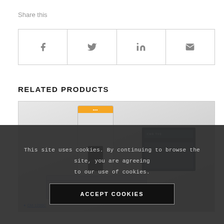Share this
[Figure (other): Social share buttons grid with Facebook (f), Twitter (bird), LinkedIn (in), and email (envelope) icons in a 4-column bordered grid]
RELATED PRODUCTS
[Figure (photo): Photo of industrial CNC or manufacturing machines on a light grey background, with a link 'CM 1200C' below]
This site uses cookies. By continuing to browse the site, you are agreeing to our use of cookies.
ACCEPT COOKIES